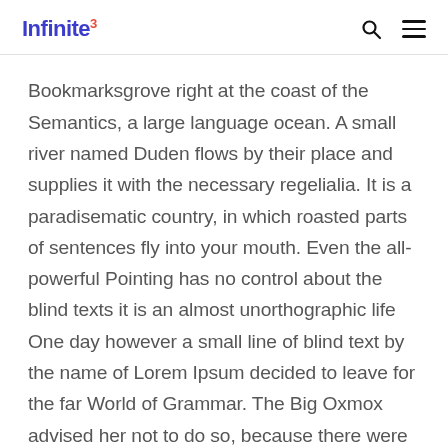Infinite³
Bookmarksgrove right at the coast of the Semantics, a large language ocean. A small river named Duden flows by their place and supplies it with the necessary regelialia. It is a paradisematic country, in which roasted parts of sentences fly into your mouth. Even the all-powerful Pointing has no control about the blind texts it is an almost unorthographic life One day however a small line of blind text by the name of Lorem Ipsum decided to leave for the far World of Grammar. The Big Oxmox advised her not to do so, because there were thousands of bad Commas, wild Question Marks and devious Semikoli, but the Little Blind Text